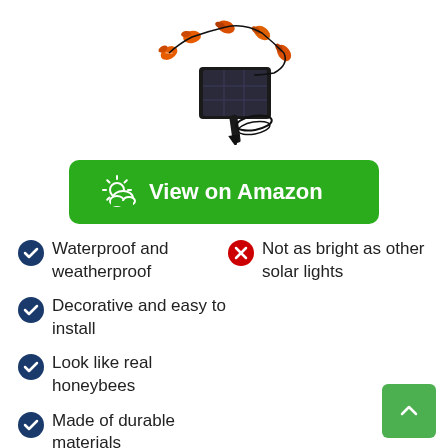[Figure (photo): Solar string lights with orange bee-shaped bulbs and a black solar panel with ground stake]
[Figure (other): Green 'View on Amazon' button with sun/cloud icon]
Waterproof and weatherproof
Not as bright as other solar lights
Decorative and easy to install
Look like real honeybees
Made of durable materials
Ideal for outdoors